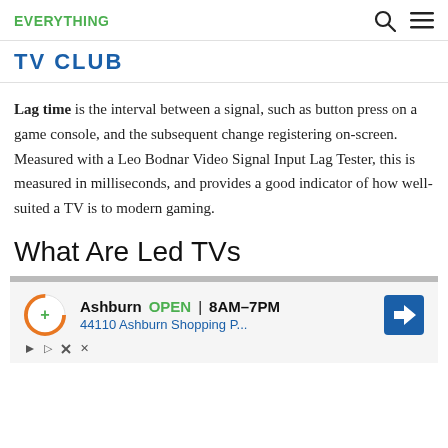EVERYTHING
TV CLUB
Lag time is the interval between a signal, such as button press on a game console, and the subsequent change registering on-screen. Measured with a Leo Bodnar Video Signal Input Lag Tester, this is measured in milliseconds, and provides a good indicator of how well-suited a TV is to modern gaming.
What Are Led TVs
[Figure (screenshot): Advertisement banner showing Ashburn location open 8AM-7PM at 44110 Ashburn Shopping P... with orange D+ logo and blue navigation arrow icon]